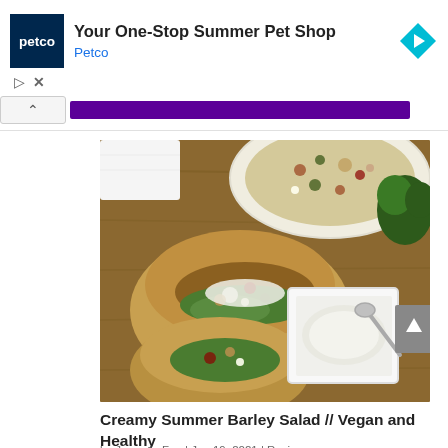[Figure (screenshot): Petco advertisement banner: blue Petco logo square on left, text 'Your One-Stop Summer Pet Shop' in bold and 'Petco' in blue link, blue diamond arrow icon on right, play and close controls below]
[Figure (photo): Food photograph showing pita bread sandwiches filled with barley salad, a bowl of barley salad, white square dish with creamy dressing and spoon, herbs, all on a wooden cutting board]
Creamy Summer Barley Salad // Vegan and Healthy
by Jones LeFae | Jun 19, 2021 | Recipes